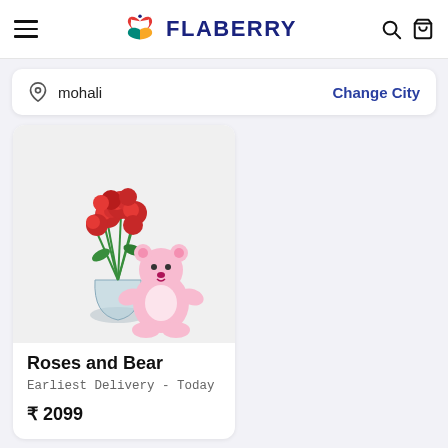[Figure (logo): Flaberry logo with colorful butterfly/heart icon and text FLABERRY in dark blue]
mohali
Change City
[Figure (photo): Product photo showing a bouquet of red roses in a glass vase with a pink teddy bear sitting beside it]
Roses and Bear
Earliest Delivery - Today
₹ 2099